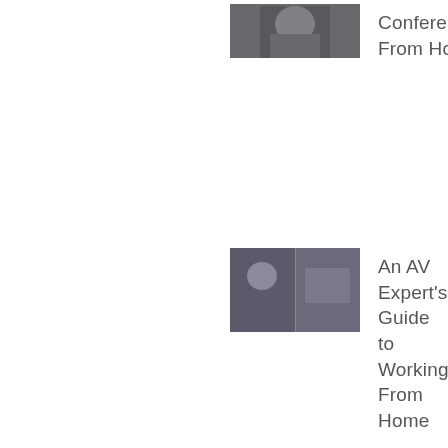[Figure (photo): Thumbnail photo of a person wearing a hat, partially visible, for Conferencing From Home article]
Conferencing From Home
[Figure (photo): Thumbnail composite of two photos showing people in an office/home setting, for An AV Expert's Guide to Working From Home article]
An AV Expert's Guide to Working From Home
[Figure (photo): Thumbnail photo of a person working with IT infrastructure/server equipment]
Top Three IT Infrastructure Trends to Watch
[Figure (photo): Thumbnail photo of a man sitting at a desk with monitors, for The ZeroDay Impact: Culture article]
The ZeroDay Impact: Culture
[Figure (illustration): Back to top button with upward chevron arrow, grey square button in bottom right]
[Figure (photo): Partially visible thumbnail at bottom of page]